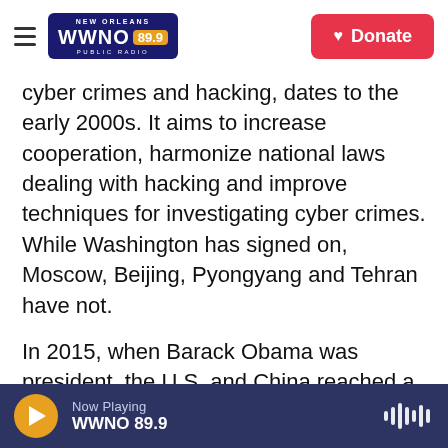WWNO 89.9 New Orleans Public Radio — Donate
cyber crimes and hacking, dates to the early 2000s. It aims to increase cooperation, harmonize national laws dealing with hacking and improve techniques for investigating cyber crimes. While Washington has signed on, Moscow, Beijing, Pyongyang and Tehran have not.
In 2015, when Barack Obama was president, the U.S. and China reached a cyber agreement declaring that neither side would "conduct or knowingly support cyber-enabled theft of intellectual property, including trade secrets or other confidential business information for
Now Playing WWNO 89.9